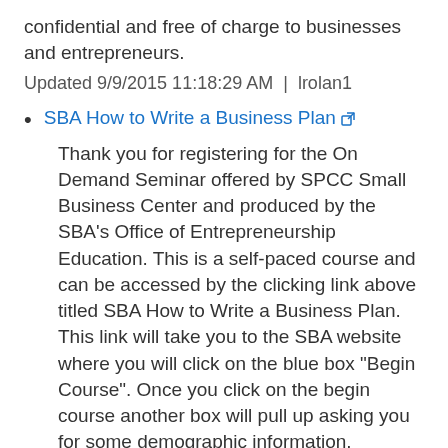confidential and free of charge to businesses and entrepreneurs.
Updated 9/9/2015 11:18:29 AM | lrolan1
SBA How to Write a Business Plan [link]
Thank you for registering for the On Demand Seminar offered by SPCC Small Business Center and produced by the SBA’s Office of Entrepreneurship Education. This is a self-paced course and can be accessed by the clicking link above titled SBA How to Write a Business Plan. This link will take you to the SBA website where you will click on the blue box “Begin Course”. Once you click on the begin course another box will pull up asking you for some demographic information. Complete this information and the presentation will begin. The PDF attached below is a transcript of the PowerPoint. Upon completion of the